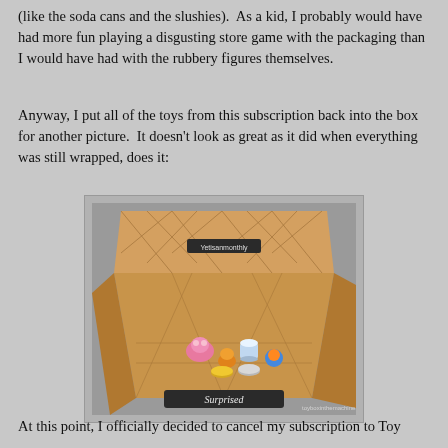(like the soda cans and the slushies).  As a kid, I probably would have had more fun playing a disgusting store game with the packaging than I would have had with the rubbery figures themselves.
Anyway, I put all of the toys from this subscription back into the box for another picture.  It doesn't look as great as it did when everything was still wrapped, does it:
[Figure (photo): An open cardboard subscription box with geometric triangle pattern printed on inside, containing several small colorful toy figurines. The box has a label reading 'Surprised' at the bottom front. Photo watermarked with toyboxinthemachine.com.]
At this point, I officially decided to cancel my subscription to Toy